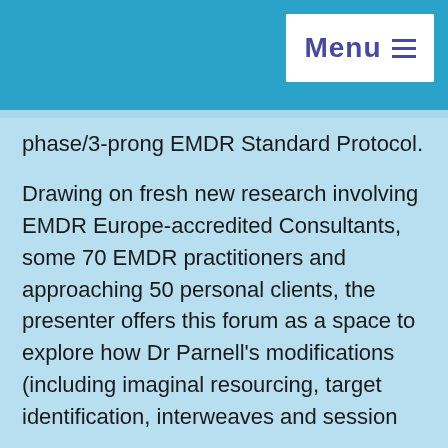Menu ≡
phase/3-prong EMDR Standard Protocol.
Drawing on fresh new research involving EMDR Europe-accredited Consultants, some 70 EMDR practitioners and approaching 50 personal clients, the presenter offers this forum as a space to explore how Dr Parnell's modifications (including imaginal resourcing, target identification, interweaves and session